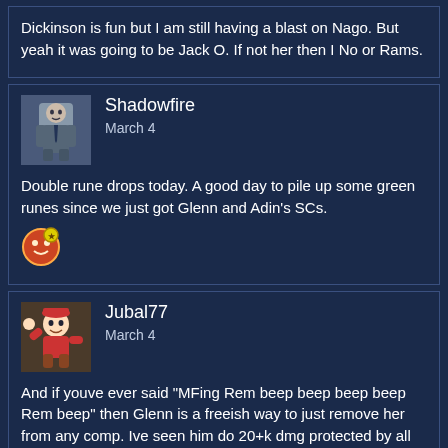Dickinson is fun but I am still having a blast on Nago. But yeah it was going to be Jack O. If not her then I No or Rams.
Shadowfire
March 4

Double rune drops today. A good day to pile up some green runes since we just got Glenn and Adin's SCs.
Jubal77
March 4

And if youve ever said "MFing Rem beep beep beep beep Rem beep" then Glenn is a freeish way to just remove her from any comp. Ive seen him do 20+k dmg protected by all the tank options. He is nuts removal for any blue.